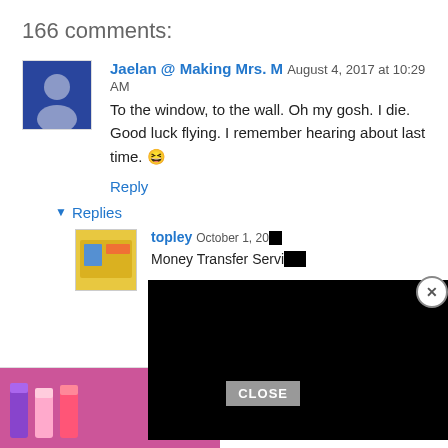166 comments:
Jaelan @ Making Mrs. M  August 4, 2017 at 10:29 AM
To the window, to the wall. Oh my gosh. I die.
Good luck flying. I remember hearing about last time. 😆
Reply
▼ Replies
topley  October 1, 20...
Money Transfer Servi...

Bank Transfers / W... Transfer / Bank Log... Gram are now available to the following countries :

USA, UK, EU, Canada, Australia, Russia, Netherlands, China, Malaysia, E... Thailand,